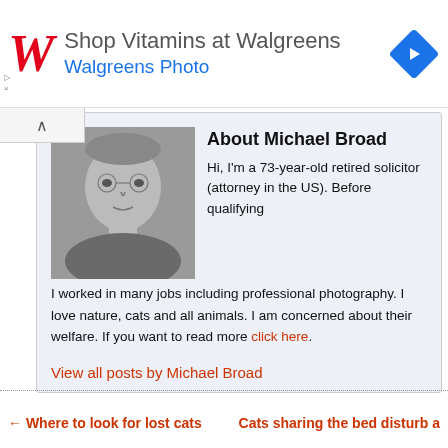[Figure (logo): Walgreens advertisement banner with red cursive W logo, text 'Shop Vitamins at Walgreens' and 'Walgreens Photo', and a blue diamond-shaped navigation icon]
About Michael Broad
[Figure (photo): Black and white headshot photo of Michael Broad, an older man]
Hi, I'm a 73-year-old retired solicitor (attorney in the US). Before qualifying I worked in many jobs including professional photography. I love nature, cats and all animals. I am concerned about their welfare. If you want to read more click here.
View all posts by Michael Broad
← Where to look for lost cats   Cats sharing the bed disturb a